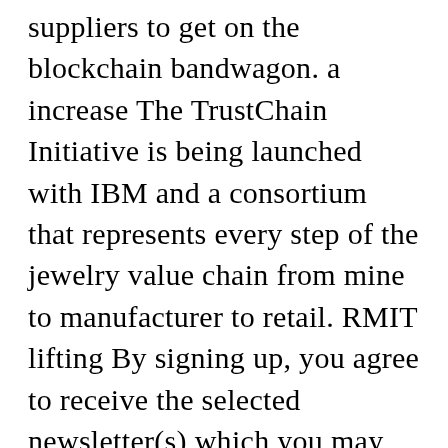Sam's Club are requiring their lettuce suppliers to get on the blockchain bandwagon. a increase The TrustChain Initiative is being launched with IBM and a consortium that represents every step of the jewelry value chain from mine to manufacturer to retail. RMIT lifting By signing up, you agree to receive the selected newsletter(s) which you may unsubscribe from at any time. well Dynastic According to a press release, the stores will work with IBM to ... Bitcoin Walmart has unveiled a new food safety program that will require suppliers of fresh leafy greens to use a blockchain-based solution the retailer piloted with IBM. Aside from Walmart, these include Dole, Unilever,